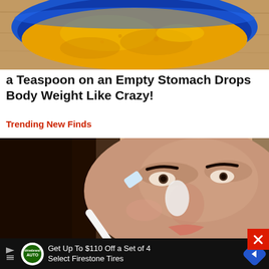[Figure (photo): Bowl of yellow turmeric powder photographed from above on a wooden surface]
a Teaspoon on an Empty Stomach Drops Body Weight Like Crazy!
Trending New Finds
[Figure (photo): Close-up of a woman applying white cream to her nose with a toothbrush or applicator tool]
[Figure (other): Advertisement banner: Get Up To $110 Off a Set of 4 Select Firestone Tires with Drivebrand Auto logo and blue navigation arrow icon]